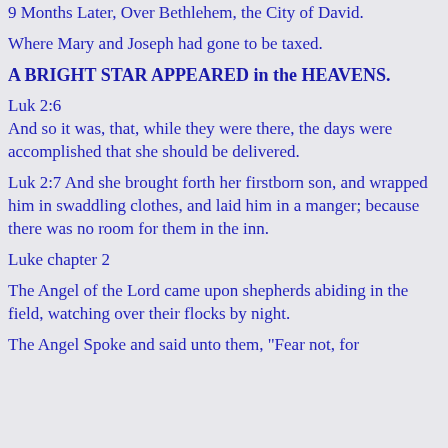9 Months Later, Over Bethlehem, the City of David.
Where Mary and Joseph had gone to be taxed.
A BRIGHT STAR APPEARED in the HEAVENS.
Luk 2:6
And so it was, that, while they were there, the days were accomplished that she should be delivered.
Luk 2:7 And she brought forth her firstborn son, and wrapped him in swaddling clothes, and laid him in a manger; because there was no room for them in the inn.
Luke chapter 2
The Angel of the Lord came upon shepherds abiding in the field, watching over their flocks by night.
The Angel Spoke and said unto them, "Fear not, for